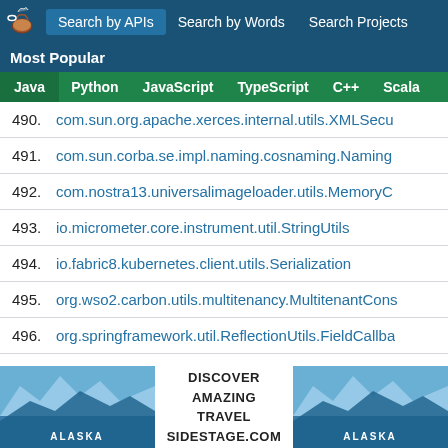Search by APIs | Search by Words | Search Projects | Most Popular
Java | Python | JavaScript | TypeScript | C++ | Scala
490. com.sun.org.apache.xerces.internal.utils.XMLSecu...
491. com.sun.corba.se.impl.naming.cosnaming.Naming...
492. com.nostra13.universalimageloader.utils.MemoryC...
493. io.micrometer.core.instrument.util.StringUtils
494. io.fabric8.kubernetes.client.utils.Serialization
495. org.wso2.carbon.utils.multitenancy.MultitenantCons...
496. org.springframework.util.ReflectionUtils.FieldCallba...
497. com.sun.corba.se.impl.logging.UtilSystemException...
498. com.blankj.utilcode.util.LogUtils
[Figure (infographic): Advertisement banner: DISCOVER AMAZING TRAVEL SIDESTAGE.COM with Alaska glacier images on left and right]